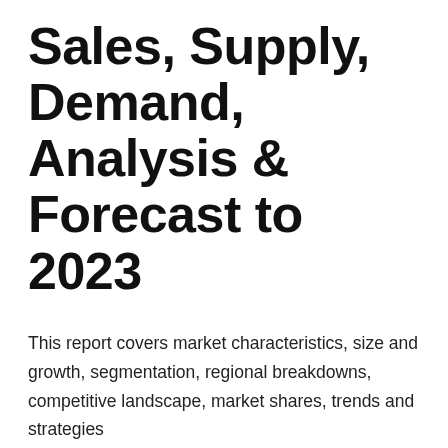Sales, Supply, Demand, Analysis & Forecast to 2023
This report covers market characteristics, size and growth, segmentation, regional breakdowns, competitive landscape, market shares, trends and strategies
Pune India - October 25, 2018 /MarketersMedia/ —